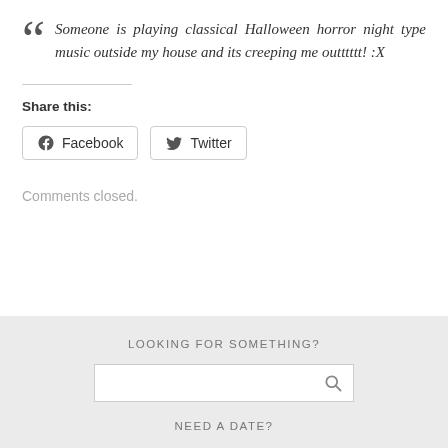Someone is playing classical Halloween horror night type music outside my house and its creeping me outttttt! :X
Share this:
[Figure (other): Facebook and Twitter share buttons]
Comments closed.
LOOKING FOR SOMETHING?
[Figure (other): Search input bar with magnifying glass icon]
NEED A DATE?